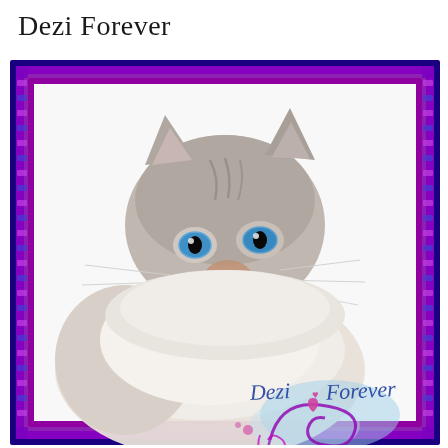Dezi Forever
[Figure (photo): A fluffy cat with blue eyes and grey-silver fur, photographed against a white background. The photo is framed in an ornate purple and blue decorative border. At the bottom right of the photo, decorative cursive text reads 'Dezi Forever' with heart and swirl embellishments in purple and blue.]